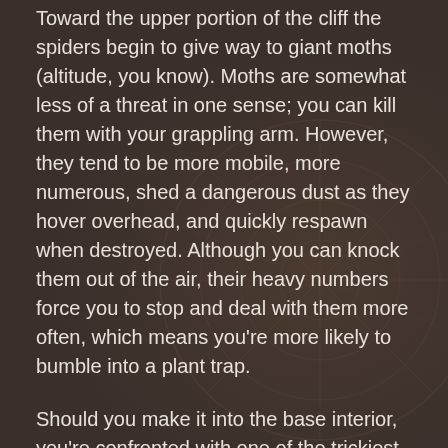Toward the upper portion of the cliff the spiders begin to give way to giant moths (altitude, you know). Moths are somewhat less of a threat in one sense; you can kill them with your grappling arm. However, they tend to be more mobile, more numerous, shed a dangerous dust as they hover overhead, and quickly respawn when destroyed. Although you can knock them out of the air, their heavy numbers force you to stop and deal with them more often, which means you're more likely to bumble into a plant trap.
Should you make it into the base interior, you're confronted with one of the trickiest level layouts you've yet faced. A wide pit descends into the unknown, and it's flanked by alcoves populated by enemy soldiers who take potshots at you as you